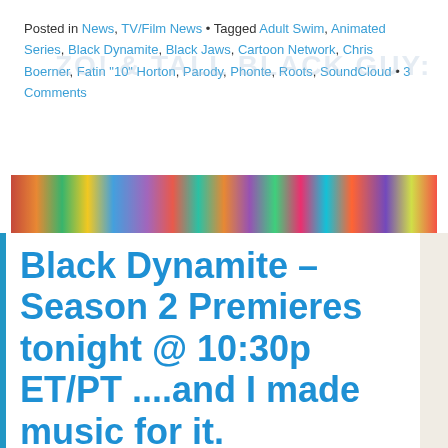Posted in News, TV/Film News • Tagged Adult Swim, Animated Series, Black Dynamite, Black Jaws, Cartoon Network, Chris Boerner, Fatin "10" Horton, Parody, Phonte, Roots, SoundCloud • 3 Comments
[Figure (photo): Colorful abstract painted banner image with bright colors including yellow, blue, purple, red, and green]
Black Dynamite – Season 2 Premieres tonight @ 10:30p ET/PT ....and I made music for it.